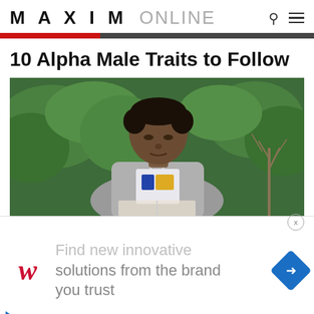MAXIM ONLINE
10 Alpha Male Traits to Follow
[Figure (photo): A young Black man in a grey hoodie jacket looking down, reading a book, with green leafy background and bare branches.]
Find new innovative solutions from the brand you trust